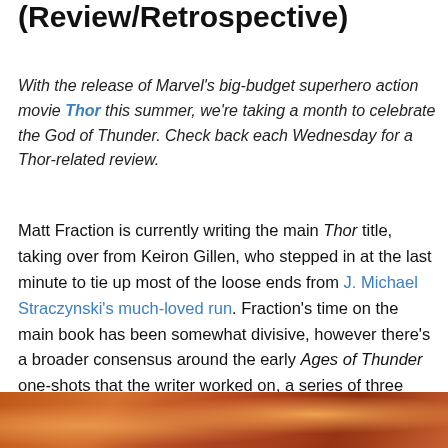(Review/Retrospective)
With the release of Marvel's big-budget superhero action movie Thor this summer, we're taking a month to celebrate the God of Thunder. Check back each Wednesday for a Thor-related review.
Matt Fraction is currently writing the main Thor title, taking over from Keiron Gillen, who stepped in at the last minute to tie up most of the loose ends from J. Michael Straczynski's much-loved run. Fraction's time on the main book has been somewhat divisive, however there's a broader consensus around the early Ages of Thunder one-shots that the writer worked on, a series of three single issues taking a look at the immortal Odinson before he became the Marvel superhero we know and love.
[Figure (photo): Bottom portion of a colorful comic book illustration featuring warm orange and red tones, partially cropped]